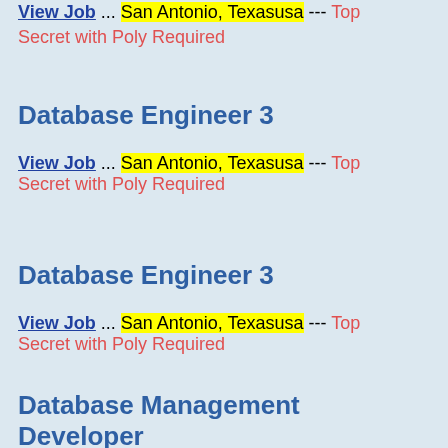View Job ... San Antonio, Texasusa --- Top Secret with Poly Required
Database Engineer 3
View Job ... San Antonio, Texasusa --- Top Secret with Poly Required
Database Engineer 3
View Job ... San Antonio, Texasusa --- Top Secret with Poly Required
Database Management Developer